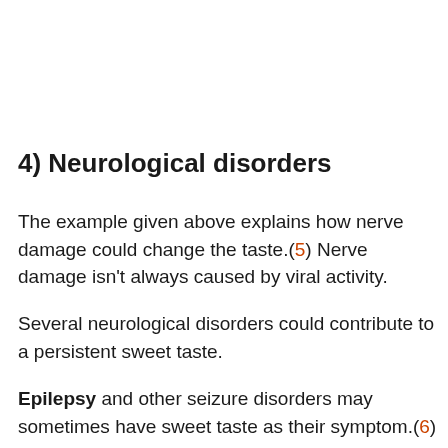4) Neurological disorders
The example given above explains how nerve damage could change the taste.(5) Nerve damage isn't always caused by viral activity.
Several neurological disorders could contribute to a persistent sweet taste.
Epilepsy and other seizure disorders may sometimes have sweet taste as their symptom.(6)